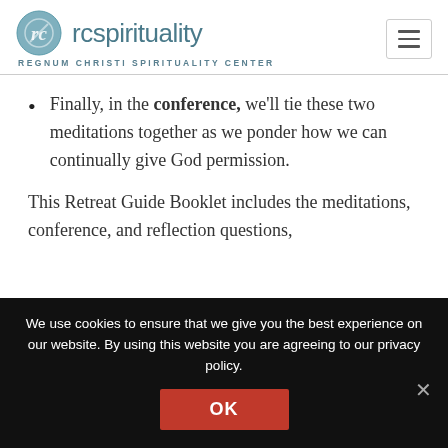[Figure (logo): rcspirituality logo with circular icon and text 'REGNUM CHRISTI SPIRITUALITY CENTER']
Finally, in the conference, we'll tie these two meditations together as we ponder how we can continually give God permission.
This Retreat Guide Booklet includes the meditations, conference, and reflection questions,
We use cookies to ensure that we give you the best experience on our website. By using this website you are agreeing to our privacy policy.